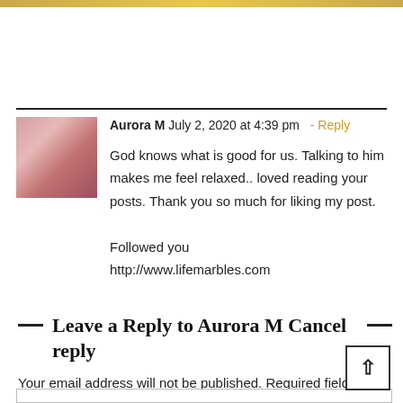[Figure (illustration): Gold decorative bar at top of page]
Aurora M July 2, 2020 at 4:39 pm – Reply
God knows what is good for us. Talking to him makes me feel relaxed.. loved reading your posts. Thank you so much for liking my post.
Followed you
http://www.lifemarbles.com
Leave a Reply to Aurora M Cancel reply
Your email address will not be published. Required fields are marked *
Comment *